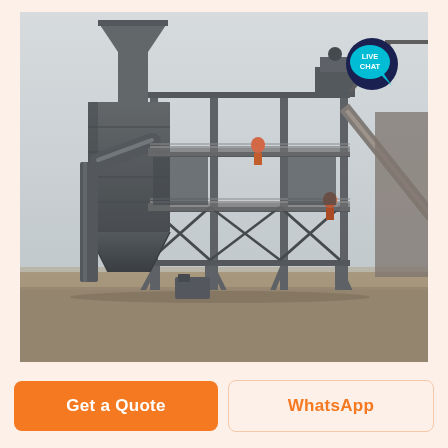[Figure (photo): Industrial dust collector / baghouse filter structure — a multi-story steel frame structure with a large hopper-shaped dust collector unit on the left side, connected to pipes. The structure has multiple platforms and walkways. Workers visible on upper levels. A conveyor belt or chute extends on the right side. Background shows a factory/construction site under overcast sky. A 'LIVE CHAT' speech-bubble icon is overlaid in the top-right corner.]
Get a Quote
WhatsApp